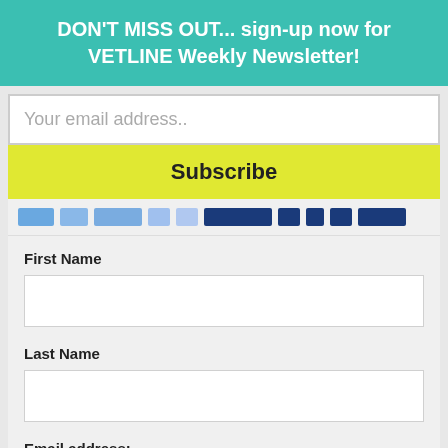DON'T MISS OUT... sign-up now for VETLINE Weekly Newsletter!
Your email address..
Subscribe
First Name
Last Name
Email address:
Your email address